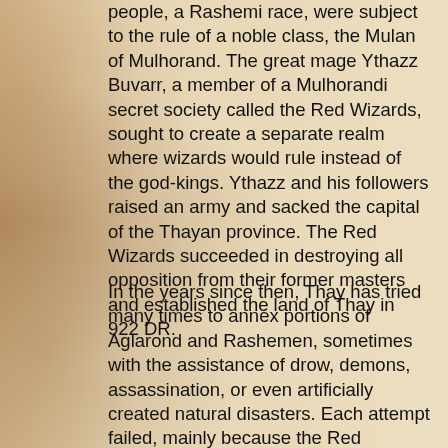people, a Rashemi race, were subject to the rule of a noble class, the Mulan of Mulhorand. The great mage Ythazz Buvarr, a member of a Mulhorandi secret society called the Red Wizards, sought to create a separate realm where wizards would rule instead of the god-kings. Ythazz and his followers raised an army and sacked the capital of the Thayan province. The Red Wizards succeeded in destroying all opposition from their former masters and established the land of Thay in 922 DR.
In the years since then, Thay has tried many times to annex portions of Aglarond and Rashemen, sometimes with the assistance of drow, demons, assassination, or even artificially created natural disasters. Each attempt failed, mainly because the Red Wizards could never successfully cooperate with each other. The most recent attempt involved bargaining with the leaders of the efreet and salamanders from the Elemental Plane of Fire. When their allies turned on them, the clerics of Kossuth, lord of the fire elementals, were able to persuade their deity to intervene and rout the other outsiders, greatly